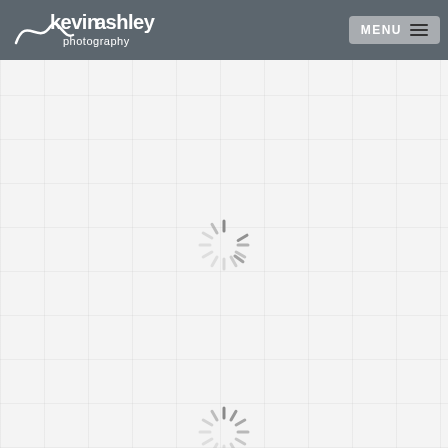kevin ashley photography — MENU
[Figure (screenshot): Loading spinner (radial dashes) centered in white/light-gray content area]
[Figure (screenshot): Second loading spinner (partial, bottom of page)]